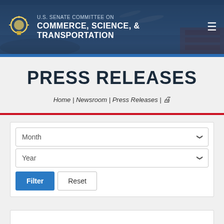[Figure (screenshot): U.S. Senate Committee on Commerce, Science, & Transportation website header with dark blue background, lightbulb logo, committee name, hamburger menu icon, and background image of transportation (ships, planes, shipping containers)]
PRESS RELEASES
Home | Newsroom | Press Releases | [print icon]
Month (dropdown selector)
Year (dropdown selector)
Filter  Reset